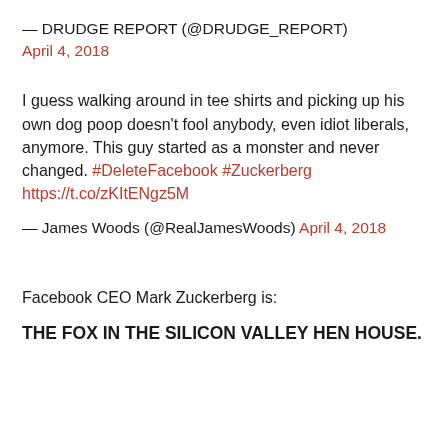— DRUDGE REPORT (@DRUDGE_REPORT) April 4, 2018
I guess walking around in tee shirts and picking up his own dog poop doesn't fool anybody, even idiot liberals, anymore. This guy started as a monster and never changed. #DeleteFacebook #Zuckerberg https://t.co/zKItENgz5M
— James Woods (@RealJamesWoods) April 4, 2018
Facebook CEO Mark Zuckerberg is:
THE FOX IN THE SILICON VALLEY HEN HOUSE.